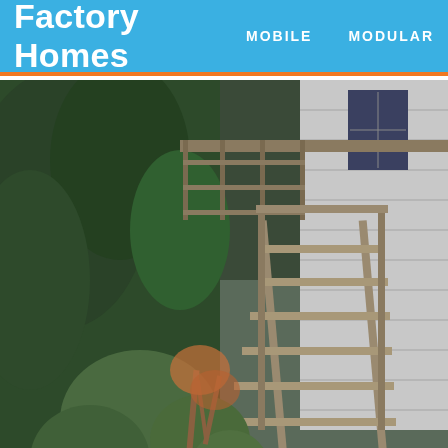Factory Homes   MOBILE   MODULAR
[Figure (photo): Exterior photo of a mobile/modular home showing wooden stairs and deck with overgrown vegetation and mulch ground cover. The home has white vinyl siding visible on the right side.]
Sale West Monroe Bank Owned Homes Louisiana